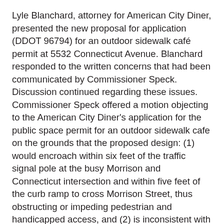Lyle Blanchard, attorney for American City Diner, presented the new proposal for application (DDOT 96794) for an outdoor sidewalk café permit at 5532 Connecticut Avenue. Blanchard responded to the written concerns that had been communicated by Commissioner Speck. Discussion continued regarding these issues. Commissioner Speck offered a motion objecting to the American City Diner's application for the public space permit for an outdoor sidewalk cafe on the grounds that the proposed design: (1) would encroach within six feet of the traffic signal pole at the busy Morrison and Connecticut intersection and within five feet of the curb ramp to cross Morrison Street, thus obstructing or impeding pedestrian and handicapped access, and (2) is inconsistent with the more open corners throughout the commercial strip on Connecticut Avenue. After discussion, the ANC suggested that the design for the sidewalk cafe be modified (subject to the ANC's further review) so that it would terminate on a line between the existing building and perpendicular to